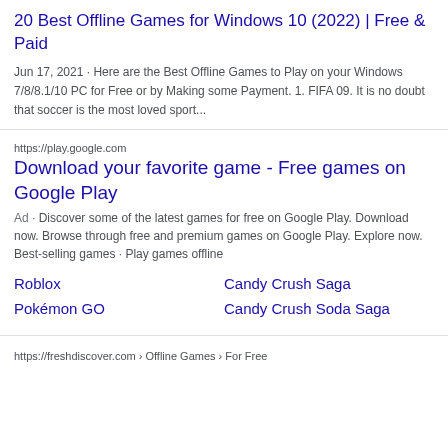20 Best Offline Games for Windows 10 (2022) | Free & Paid
Jun 17, 2021 · Here are the Best Offline Games to Play on your Windows 7/8/8.1/10 PC for Free or by Making some Payment. 1. FIFA 09. It is no doubt that soccer is the most loved sport...
https://play.google.com
Download your favorite game - Free games on Google Play
Ad · Discover some of the latest games for free on Google Play. Download now. Browse through free and premium games on Google Play. Explore now.
Best-selling games · Play games offline
Roblox
Candy Crush Saga
Pokémon GO
Candy Crush Soda Saga
https://freshdiscover.com › Offline Games › For Free